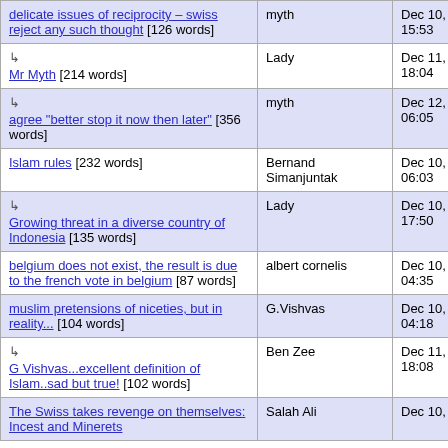| Title | Author | Date |
| --- | --- | --- |
| delicate issues of reciprocity – swiss reject any such thought [126 words] | myth | Dec 10, 2009 15:53 |
| ↳ Mr Myth [214 words] | Lady | Dec 11, 2009 18:04 |
| ↳ agree "better stop it now then later" [356 words] | myth | Dec 12, 2009 06:05 |
| Islam rules [232 words] | Bernand Simanjuntak | Dec 10, 2009 06:03 |
| ↳ Growing threat in a diverse country of Indonesia [135 words] | Lady | Dec 10, 2009 17:50 |
| belgium does not exist, the result is due to the french vote in belgium [87 words] | albert cornelis | Dec 10, 2009 04:35 |
| muslim pretensions of niceties, but in reality... [104 words] | G.Vishvas | Dec 10, 2009 04:18 |
| ↳ G Vishvas...excellent definition of Islam..sad but true! [102 words] | Ben Zee | Dec 11, 2009 18:08 |
| The Swiss takes revenge on themselves: Incest and Minerets | Salah Ali | Dec 10, 2009 |